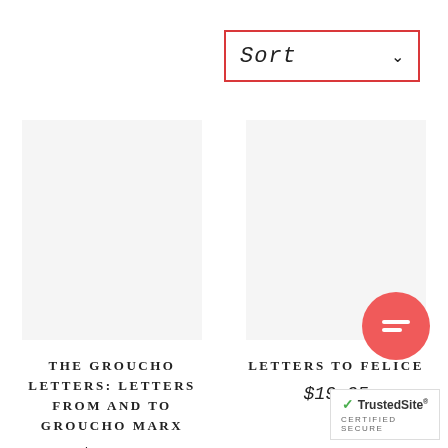[Figure (screenshot): Sort dropdown selector with red border and chevron arrow]
[Figure (photo): Book product image placeholder for The Groucho Letters]
THE GROUCHO LETTERS: LETTERS FROM AND TO GROUCHO MARX
$20.99
[Figure (photo): Book product image placeholder for Letters to Felice]
LETTERS TO FELICE
$19.95
[Figure (other): Red circular chat/message bubble icon]
[Figure (logo): TrustedSite Certified Secure badge with green checkmark]